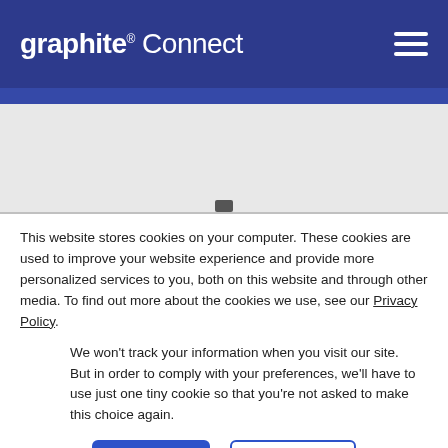[Figure (logo): Graphite Connect logo — white bold text on dark blue header bar with hamburger menu icon on right]
[Figure (screenshot): Gray placeholder area below navigation bar]
This website stores cookies on your computer. These cookies are used to improve your website experience and provide more personalized services to you, both on this website and through other media. To find out more about the cookies we use, see our Privacy Policy.
We won't track your information when you visit our site. But in order to comply with your preferences, we'll have to use just one tiny cookie so that you're not asked to make this choice again.
Accept
Decline